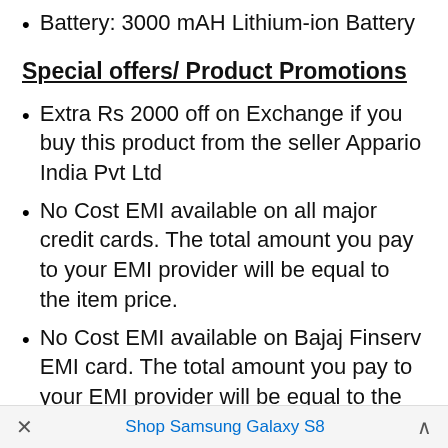Battery: 3000 mAH Lithium-ion Battery
Special offers/ Product Promotions
Extra Rs 2000 off on Exchange if you buy this product from the seller Appario India Pvt Ltd
No Cost EMI available on all major credit cards. The total amount you pay to your EMI provider will be equal to the item price.
No Cost EMI available on Bajaj Finserv EMI card. The total amount you pay to your EMI provider will be equal to the item price. No Cost EMI available on Bajaj Finserv EMI card. The total
× Shop Samsung Galaxy S8 ^